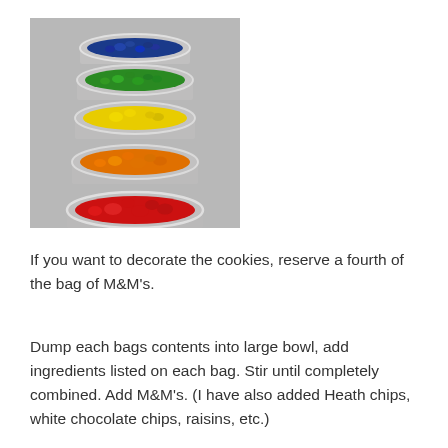[Figure (photo): Five small glass bowls stacked diagonally, each filled with M&M candies sorted by color: blue/dark on top, green, yellow, orange, and red at the bottom. Photographed on a gray surface.]
If you want to decorate the cookies, reserve a fourth of the bag of M&M's.
Dump each bags contents into large bowl, add ingredients listed on each bag. Stir until completely combined. Add M&M's. (I have also added Heath chips, white chocolate chips, raisins, etc.)